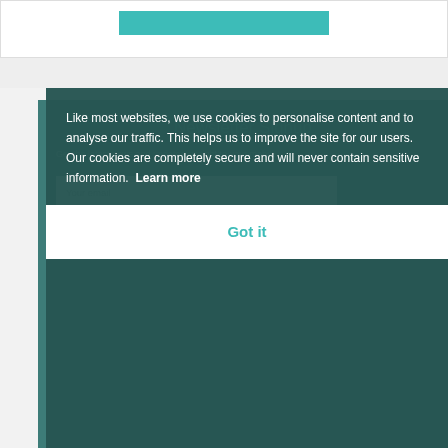[Figure (screenshot): Top white section with a teal/cyan button visible at top]
Newsletter Signup
Get the latest news and updates straight to your mobile
Your email
Phone Number
[Figure (screenshot): Cookie consent overlay banner with dark teal background. Text reads: Like most websites, we use cookies to personalise content and to analyse our traffic. This helps us to improve the site for our users. Our cookies are completely secure and will never contain sensitive information. Learn more. Got it button in white bar at bottom.]